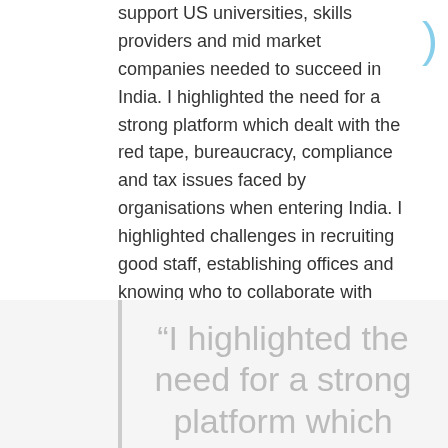support US universities, skills providers and mid market companies needed to succeed in India. I highlighted the need for a strong platform which dealt with the red tape, bureaucracy, compliance and tax issues faced by organisations when entering India. I highlighted challenges in recruiting good staff, establishing offices and knowing who to collaborate with locally and how to build sustainable partnerships – and, of course, raised the issue of the many “grey areas” around dual programs, tax on local activities and the now rather stale issues surrounding the foreign education providers bill.
“I highlighted the need for a strong platform which dealt with the red